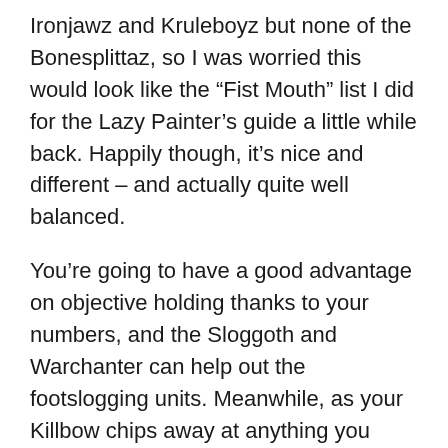Ironjawz and Kruleboyz but none of the Bonesplittaz, so I was worried this would look like the “Fist Mouth” list I did for the Lazy Painter’s guide a little while back. Happily though, it’s nice and different – and actually quite well balanced.
You’re going to have a good advantage on objective holding thanks to your numbers, and the Sloggoth and Warchanter can help out the footslogging units. Meanwhile, as your Killbow chips away at anything you want it to, the three behemoths and the Goregruntas can charge head-first into the enemy. I’m not sure if this list is breaking any new ground, but I think the dice have been rather kind to us with this one.
I’ve got to give it a high score really. I could see this winning, though movement trays are probably a must just